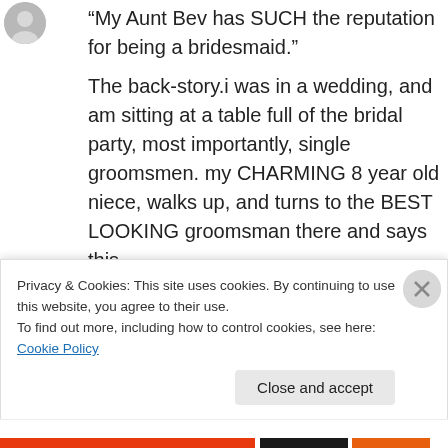[Figure (photo): Small circular avatar/profile image, partially visible at top left]
“My Aunt Bev has SUCH the reputation for being a bridesmaid.” The back-story.i was in a wedding, and am sitting at a table full of the bridal party, most importantly, single groomsmen. my CHARMING 8 year old niece, walks up, and turns to the BEST LOOKING groomsman there and says this. really, at that point in time, i couldn’t deny it. but when you don’t know that 27 Dresses was
Privacy & Cookies: This site uses cookies. By continuing to use this website, you agree to their use.
To find out more, including how to control cookies, see here: Cookie Policy
Close and accept